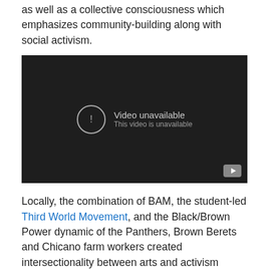as well as a collective consciousness which emphasizes community-building along with social activism.
[Figure (screenshot): Video unavailable placeholder from YouTube. Dark background with an exclamation mark circle icon. Text: 'Video unavailable' and 'This video is unavailable'. YouTube play button logo in bottom-right corner.]
Locally, the combination of BAM, the student-led Third World Movement, and the Black/Brown Power dynamic of the Panthers, Brown Berets and Chicano farm workers created intersectionality between arts and activism which remains one of the defining, if not THE defining